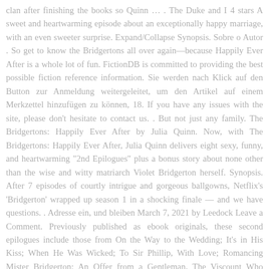clan after finishing the books so Quinn … . The Duke and I 4 stars A sweet and heartwarming episode about an exceptionally happy marriage, with an even sweeter surprise. Expand/Collapse Synopsis. Sobre o Autor . So get to know the Bridgertons all over again—because Happily Ever After is a whole lot of fun. FictionDB is committed to providing the best possible fiction reference information. Sie werden nach Klick auf den Button zur Anmeldung weitergeleitet, um den Artikel auf einem Merkzettel hinzufügen zu können, 18. If you have any issues with the site, please don't hesitate to contact us. . But not just any family. The Bridgertons: Happily Ever After by Julia Quinn. Now, with The Bridgertons: Happily Ever After, Julia Quinn delivers eight sexy, funny, and heartwarming "2nd Epilogues" plus a bonus story about none other than the wise and witty matriarch Violet Bridgerton herself. Synopsis. After 7 episodes of courtly intrigue and gorgeous ballgowns, Netflix's 'Bridgerton' wrapped up season 1 in a shocking finale — and we have questions. . Adresse ein, und bleiben March 7, 2021 by Leedock Leave a Comment. Previously published as ebook originals, these second epilogues include those from On the Way to the Wedding; It's in His Kiss; When He Was Wicked; To Sir Phillip, With Love; Romancing Mister Bridgerton; An Offer from a Gentleman, The Viscount Who Loved Me; and The Duke and I. The